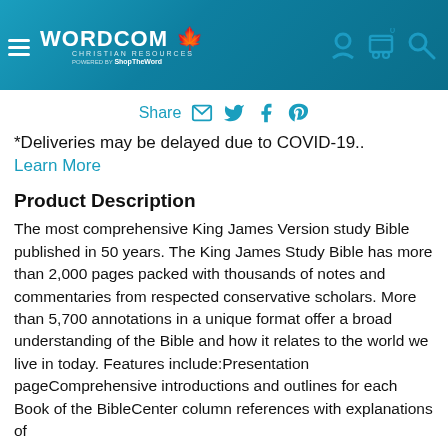[Figure (logo): Wordcom Christian Resources logo with maple leaf icon and 'Powered by ShopTheWord' tagline on teal gradient header background with hamburger menu and cart/search/account icons]
Share
*Deliveries may be delayed due to COVID-19..
Learn More
Product Description
The most comprehensive King James Version study Bible published in 50 years. The King James Study Bible has more than 2,000 pages packed with thousands of notes and commentaries from respected conservative scholars. More than 5,700 annotations in a unique format offer a broad understanding of the Bible and how it relates to the world we live in today. Features include:Presentation pageComprehensive introductions and outlines for each Book of the BibleCenter column references with explanations of